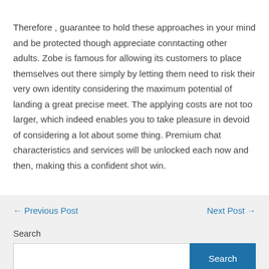Therefore , guarantee to hold these approaches in your mind and be protected though appreciate conntacting other adults. Zobe is famous for allowing its customers to place themselves out there simply by letting them need to risk their very own identity considering the maximum potential of landing a great precise meet. The applying costs are not too larger, which indeed enables you to take pleasure in devoid of considering a lot about some thing. Premium chat characteristics and services will be unlocked each now and then, making this a confident shot win.
← Previous Post
Next Post →
Search